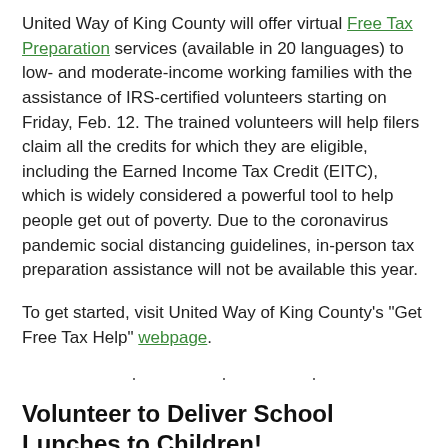United Way of King County will offer virtual Free Tax Preparation services (available in 20 languages) to low- and moderate-income working families with the assistance of IRS-certified volunteers starting on Friday, Feb. 12. The trained volunteers will help filers claim all the credits for which they are eligible, including the Earned Income Tax Credit (EITC), which is widely considered a powerful tool to help people get out of poverty. Due to the coronavirus pandemic social distancing guidelines, in-person tax preparation assistance will not be available this year.
To get started, visit United Way of King County's "Get Free Tax Help" webpage.
· · ·
Volunteer to Deliver School Lunches to Children!